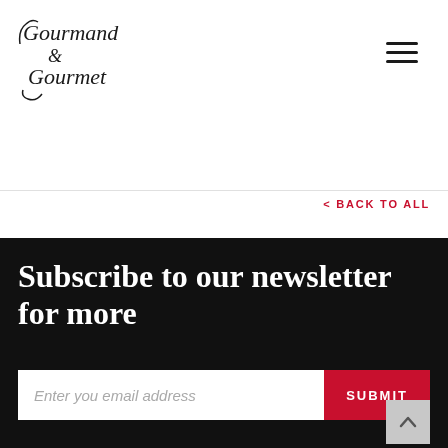[Figure (logo): Gourmand & Gourmet script logo in decorative black lettering]
[Figure (other): Hamburger menu icon — three horizontal black lines]
< BACK TO ALL
Subscribe to our newsletter for more
Enter you email address
SUBMIT
[Figure (other): Scroll-to-top chevron button in light grey]